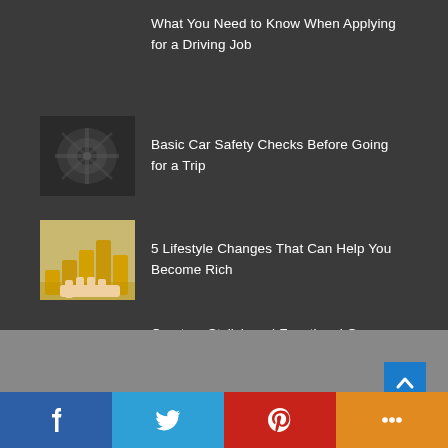What You Need to Know When Applying for a Driving Job
Basic Car Safety Checks Before Going for a Trip
5 Lifestyle Changes That Can Help You Become Rich
Create a Stylish and Functional Garage That Reflects Who You Are
[Figure (infographic): Social sharing bar with Facebook, Twitter, Pinterest and More buttons]
[Figure (infographic): Scroll to top button (blue arrow up)]